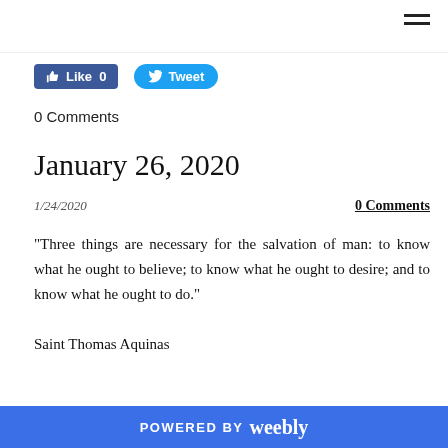≡ (hamburger menu icon)
[Figure (screenshot): Facebook Like button showing count 0 and Twitter Tweet button]
0 Comments
January 26, 2020
1/24/2020
0 Comments
"Three things are necessary for the salvation of man: to know what he ought to believe; to know what he ought to desire; and to know what he ought to do."
Saint Thomas Aquinas
POWERED BY weebly